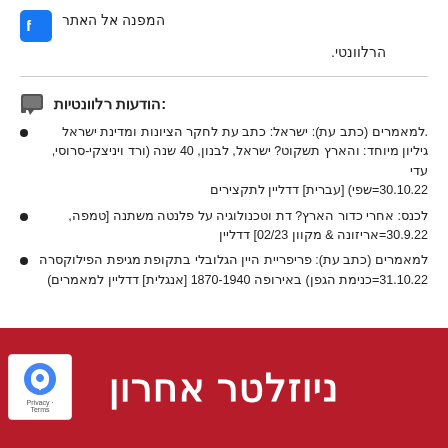המפנה אל האתר הרלוונטי.
הודעות רלוונטיות:
למאמרים (כתב עת): ישראל: כתב עת לחקר הציונות ומדינת ישראל. גיליון מיוחד: והארץ תשקוט? ישראל, לבנון, 40 שנה (ורד ויניצקי-סרוסי, עדי שפי) [עברית] דדליין לתקצירים=30.10.22
לכנס: אחרי כדור הארץ? דת וטכנולוגיה על פלנטה משתנה [טמפה, אריזונה & מקוון 02/23] דדליין=30.9.22
למאמרים (כתב עת): פריפריית היין הגלובלי בתקופת מגיפת הפילוקסרה (כנימת הגפן) באירופה 1870-1940 [אנגלית] דדליין למאמרים=31.10.22
ניוזלטר אחרון